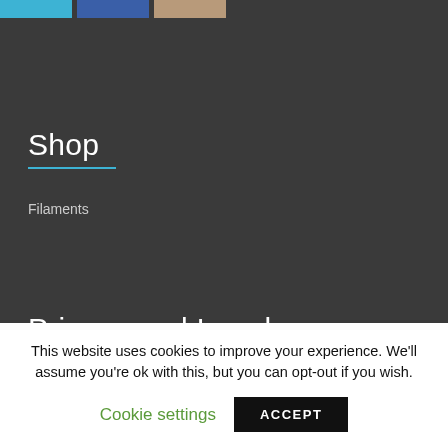[Figure (other): Three color swatches at top: light blue, dark blue, and brown/tan colored rectangles]
Shop
Filaments
Privacy and Legal
Privacy Information
Legal Information
This website uses cookies to improve your experience. We'll assume you're ok with this, but you can opt-out if you wish.
Cookie settings
ACCEPT